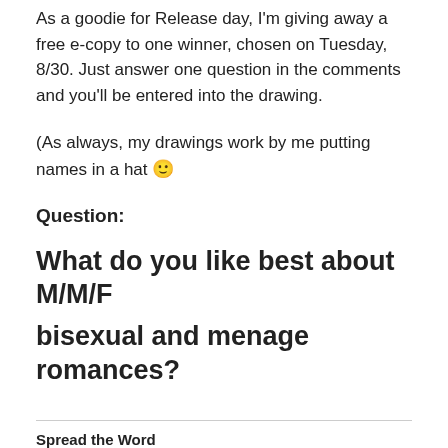As a goodie for Release day, I'm giving away a free e-copy to one winner, chosen on Tuesday, 8/30. Just answer one question in the comments and you'll be entered into the drawing.
(As always, my drawings work by me putting names in a hat 🙂
Question:
What do you like best about M/M/F bisexual and menage romances?
Spread the Word
[Figure (infographic): Social sharing buttons: Tweet (Twitter/blue), Share (LinkedIn/blue), Email (outline), Print (outline), Save (Pinterest/red)]